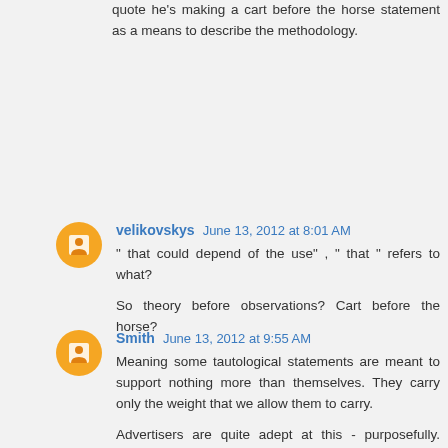quote he's making a cart before the horse statement as a means to describe the methodology.
velikovskys June 13, 2012 at 8:01 AM
" that could depend of the use" , " that " refers to what?

So theory before observations? Cart before the horse?
Smith June 13, 2012 at 9:55 AM
Meaning some tautological statements are meant to support nothing more than themselves. They carry only the weight that we allow them to carry.

Advertisers are quite adept at this - purposefully. Many others are adept unwittingly. Observing cultures at various levels of interaction can reveal